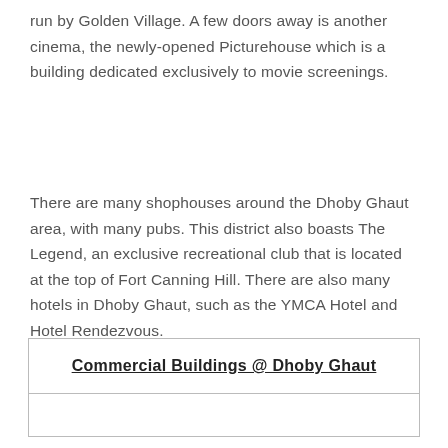run by Golden Village. A few doors away is another cinema, the newly-opened Picturehouse which is a building dedicated exclusively to movie screenings.
There are many shophouses around the Dhoby Ghaut area, with many pubs. This district also boasts The Legend, an exclusive recreational club that is located at the top of Fort Canning Hill. There are also many hotels in Dhoby Ghaut, such as the YMCA Hotel and Hotel Rendezvous.
| Commercial Buildings @ Dhoby Ghaut |
| --- |
|  |